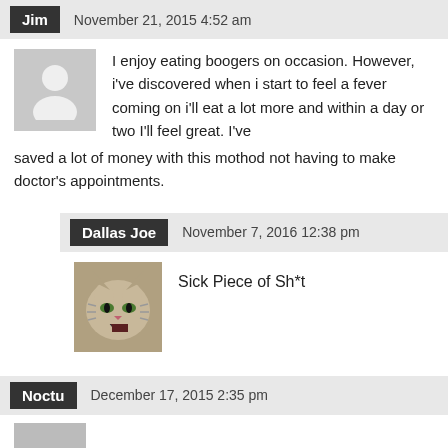Jim — November 21, 2015 4:52 am
I enjoy eating boogers on occasion. However, i've discovered when i start to feel a fever coming on i'll eat a lot more and within a day or two I'll feel great. I've saved a lot of money with this mothod not having to make doctor's appointments.
Dallas Joe — November 7, 2016 12:38 pm
Sick Piece of Sh*t
Noctu — December 17, 2015 2:35 pm